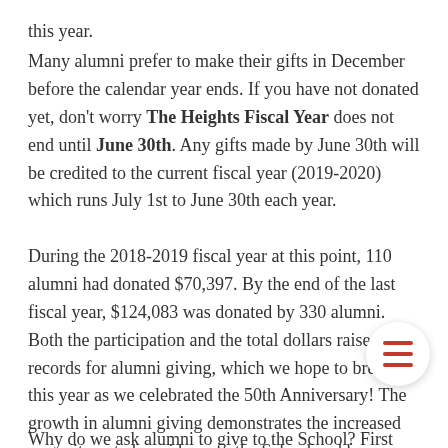this year.
Many alumni prefer to make their gifts in December before the calendar year ends. If you have not donated yet, don't worry The Heights Fiscal Year does not end until June 30th. Any gifts made by June 30th will be credited to the current fiscal year (2019-2020) which runs July 1st to June 30th each year.
During the 2018-2019 fiscal year at this point, 110 alumni had donated $70,397. By the end of the last fiscal year, $124,083 was donated by 330 alumni. Both the participation and the total dollars raised are records for alumni giving, which we hope to break this year as we celebrated the 50th Anniversary! The growth in alumni giving demonstrates the increased commitment alumni have to the School and has a significant impact on the annual success of The Heights.
Why do we ask alumni to give to the School? First, it is an opportunity to express gratitude for the